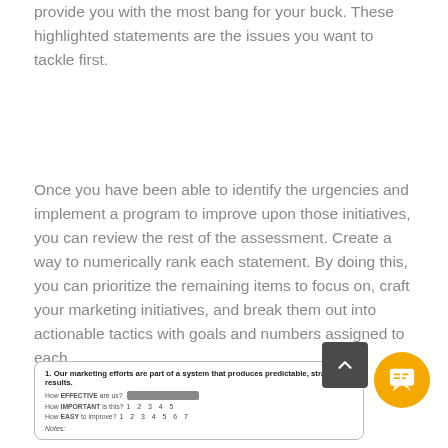provide you with the most bang for your buck. These highlighted statements are the issues you want to tackle first.
Once you have been able to identify the urgencies and implement a program to improve upon those initiatives, you can review the rest of the assessment. Create a way to numerically rank each statement. By doing this, you can prioritize the remaining items to focus on, craft your marketing initiatives, and break them out into actionable tactics with goals and numbers assigned to each.
[Figure (other): A form/assessment snippet showing: '1. Our marketing efforts are part of a system that produces predictable, strategic results.' with rating scales for How EFFECTIVE are us?, How IMPORTANT is this? (1-5), How EASY to improve? (1-7), and a Notes field.]